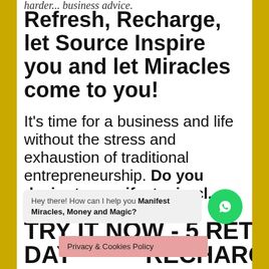harder... business advice.
Refresh, Recharge, let Source Inspire you and let Miracles come to you!
It's time for a business and life without the stress and exhaustion of traditional entrepreneurship. Do you desire to manifest miracl...? This is it...
[Figure (other): WhatsApp chat popup with message: Hey there! How can I help you Manifest Miracles, Money and Magic? with green WhatsApp icon button]
TRY IT NOW - 5 RETREAT DAY... RECHARGE
Privacy & Cookies Policy